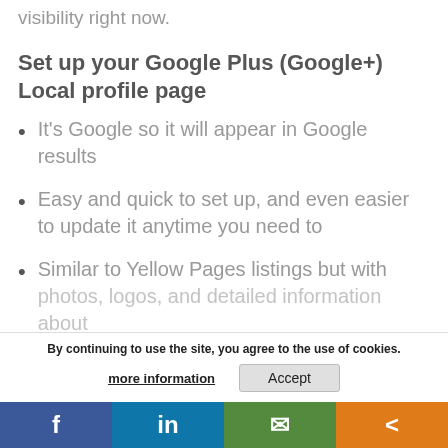visibility right now.
Set up your Google Plus (Google+) Local profile page
It's Google so it will appear in Google results
Easy and quick to set up, and even easier to update it anytime you need to
Similar to Yellow Pages listings but with photos, logos, and detailed information about...
By continuing to use the site, you agree to the use of cookies.
more information   Accept